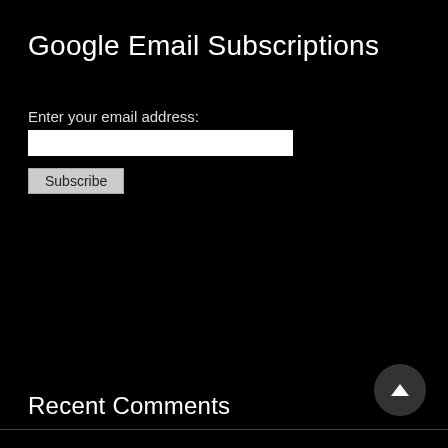Google Email Subscriptions
Enter your email address:
[Figure (screenshot): Empty white email input text field]
[Figure (screenshot): Subscribe button]
Recent Comments